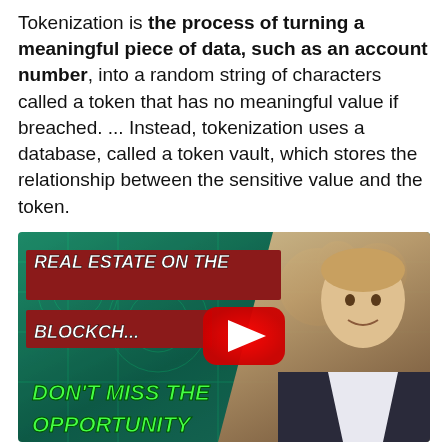Tokenization is the process of turning a meaningful piece of data, such as an account number, into a random string of characters called a token that has no meaningful value if breached. ... Instead, tokenization uses a database, called a token vault, which stores the relationship between the sensitive value and the token.
[Figure (other): YouTube thumbnail for 'Real Estate on the Blockchain - Don't Miss the Opportunity' video, featuring a man in a suit on a green crypto-themed background with a YouTube play button]